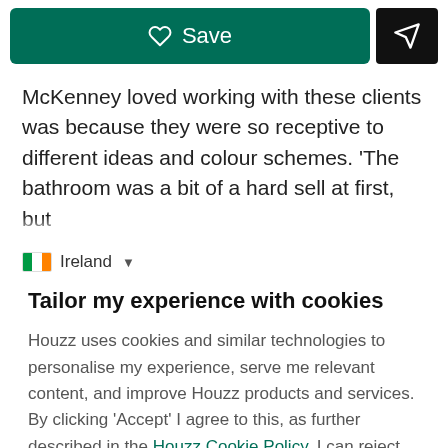[Figure (screenshot): Green Save button with heart icon and black share/send button]
McKenney loved working with these clients was because they were so receptive to different ideas and colour schemes. 'The bathroom was a bit of a hard sell at first, but
Ireland (dropdown)
Tailor my experience with cookies
Houzz uses cookies and similar technologies to personalise my experience, serve me relevant content, and improve Houzz products and services. By clicking 'Accept' I agree to this, as further described in the Houzz Cookie Policy. I can reject non-
Manage Preferences
Accept